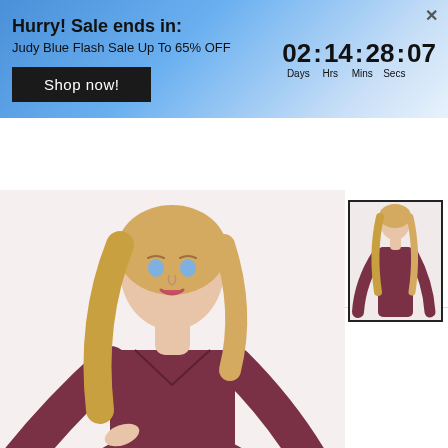[Figure (screenshot): Flash sale banner with blue gradient background. Shows 'Hurry! Sale ends in:' with 'Judy Blue Flash Sale Up To 65% OFF', a countdown timer '02:14:28:07' with Days/Hrs/Mins/Secs labels, a 'Shop now!' button, and a close X.]
[Figure (screenshot): Website navigation bar for 'Tigbuls Variety Fashion Store' with hamburger menu icon on left, orange script logo in center, and search/cart icons on right.]
[Figure (photo): Product photo of a woman with long blonde hair wearing a dark mauve/burgundy long-sleeve V-neck fitted dress, shown from shoulders up with body partially visible.]
[Figure (photo): Small thumbnail image of the same woman wearing the burgundy long-sleeve V-neck dress, showing full body silhouette, with a black border frame.]